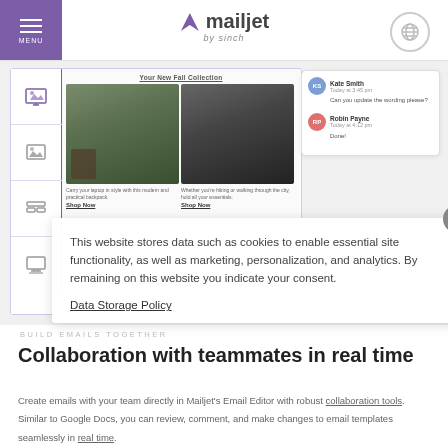MENU | mailjet by sinch | (globe icon)
[Figure (screenshot): Mailjet email editor interface showing a drag-and-drop builder with toolbar icons on the left, an email canvas with two backpack product images and captions/shop now links, and a comments panel on the right showing messages from Kate Smith and Robin Payne]
[Figure (screenshot): Cookie consent overlay popup with close X button reading: This website stores data such as cookies to enable essential site functionality, as well as marketing, personalization, and analytics. By remaining on this website you indicate your consent. Data Storage Policy link.]
BUILD EMAILS TOGETHER
Collaboration with teammates in real time
Create emails with your team directly in Mailjet's Email Editor with robust collaboration tools. Similar to Google Docs, you can review, comment, and make changes to email templates seamlessly in real time.